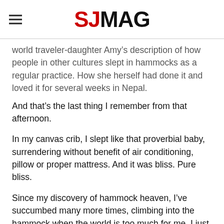SJMAG
world traveler-daughter Amy's description of how people in other cultures slept in hammocks as a regular practice. How she herself had done it and loved it for several weeks in Nepal.
And that's the last thing I remember from that afternoon.
In my canvas crib, I slept like that proverbial baby, surrendering without benefit of air conditioning, pillow or proper mattress. And it was bliss. Pure bliss.
Since my discovery of hammock heaven, I've succumbed many more times, climbing into the hammock when the world is too much for me. I just let the hammock swing me into oblivion.